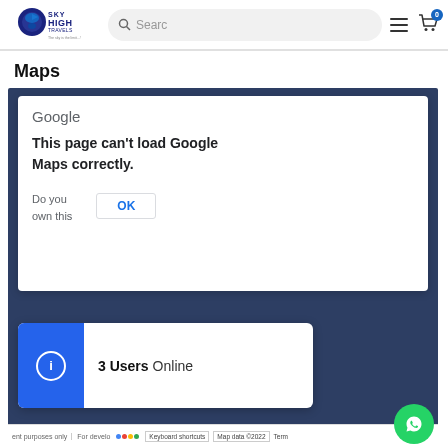[Figure (logo): Sky High Travels logo with bird icon and tagline]
[Figure (screenshot): Search bar with magnifying glass icon and placeholder text 'Searc']
[Figure (infographic): Hamburger menu icon and shopping cart icon with badge showing 0]
Maps
[Figure (screenshot): Google Maps error popup saying 'This page can’t load Google Maps correctly.' with Do you own this site? prompt and OK button, overlaid with '3 Users Online' widget and Google Maps bottom bar showing Keyboard shortcuts, Map data ©2022, Terms. WhatsApp button in bottom right corner.]